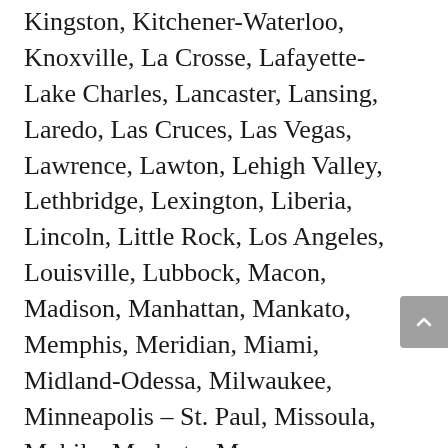Kingston, Kitchener-Waterloo, Knoxville, La Crosse, Lafayette-Lake Charles, Lancaster, Lansing, Laredo, Las Cruces, Las Vegas, Lawrence, Lawton, Lehigh Valley, Lethbridge, Lexington, Liberia, Lincoln, Little Rock, Los Angeles, Louisville, Lubbock, Macon, Madison, Manhattan, Mankato, Memphis, Meridian, Miami, Midland-Odessa, Milwaukee, Minneapolis – St. Paul, Missoula, Mobile, Modesto, Monroe, Montgomery, Myrtle Beach, Nacogdoches, Nashville, New Hampshire, New Jersey, New Orleans, New York City, Ocala, Oklahoma City, Olympia, Omaha, Orange County, Orlando, Outer Banks, Oxford, Palm Springs, Pensacola,